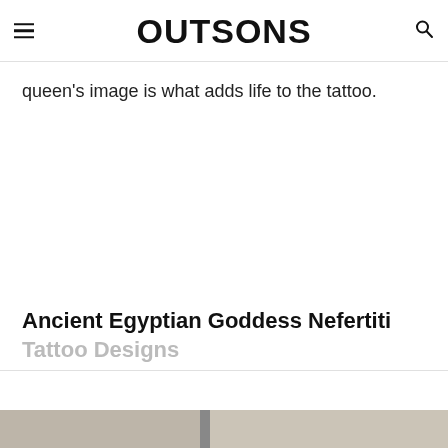OUTSONS
queen’s image is what adds life to the tattoo.
Ancient Egyptian Goddess Nefertiti Tattoo Designs
[Figure (photo): Partial view of a tattoo photo at the bottom of the page]